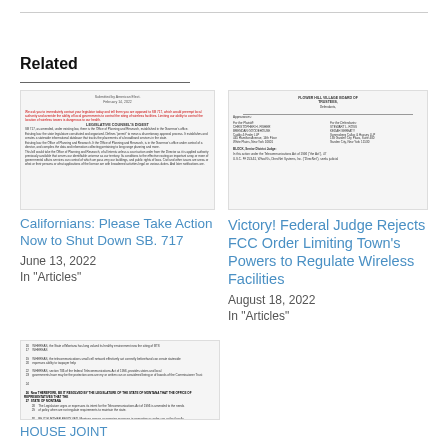Related
[Figure (screenshot): Preview of document: Californians: Please Take Action Now to Shut Down SB. 717 - letter style document with red highlighted text]
Californians: Please Take Action Now to Shut Down SB. 717
June 13, 2022
In "Articles"
[Figure (screenshot): Preview of court document: Victory! Federal Judge Rejects FCC Order Limiting Town's Powers to Regulate Wireless Facilities - legal filing with party names and judge information]
Victory! Federal Judge Rejects FCC Order Limiting Town's Powers to Regulate Wireless Facilities
August 18, 2022
In "Articles"
[Figure (screenshot): Preview of House Joint Resolution document with numbered paragraphs and legal text]
HOUSE JOINT